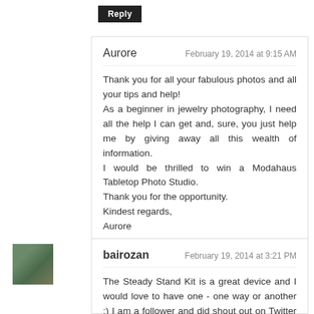Reply
Aurore
February 19, 2014 at 9:15 AM
Thank you for all your fabulous photos and all your tips and help!
As a beginner in jewelry photography, I need all the help I can get and, sure, you just help me by giving away all this wealth of information.
I would be thrilled to win a Modahaus Tabletop Photo Studio.
Thank you for the opportunity.
Kindest regards,
Aurore
Reply
bairozan
February 19, 2014 at 3:21 PM
The Steady Stand Kit is a great device and I would love to have one - one way or another :) I am a follower and did shout out on Twitter and Facebook!
Reply